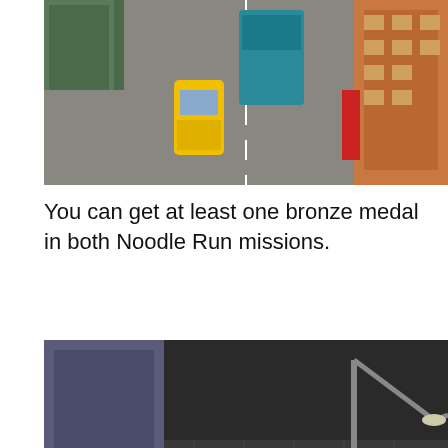[Figure (screenshot): Top-down view of a city street intersection with a yellow taxi and teal/green truck, buildings visible, game screenshot]
You can get at least one bronze medal in both Noodle Run missions.
[Figure (screenshot): Top-down view of a dark city street at night with a car, traffic cones, and a street lamp, game screenshot]
And can obtain a bronze medal in both Excess Delivery mission.
[Figure (screenshot): Partial screenshot of a game scene with text 'Get back in the...' visible at the bottom]